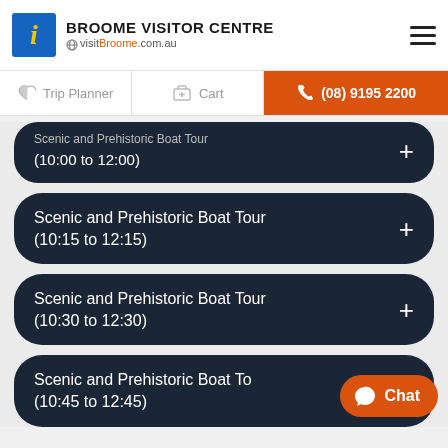BROOME VISITOR CENTRE visitBroome.com.au
Trip Planner
Cart
(08) 9195 2200
Scenic and Prehistoric Boat Tour (10:00 to 12:00)
Scenic and Prehistoric Boat Tour (10:15 to 12:15)
Scenic and Prehistoric Boat Tour (10:30 to 12:30)
Scenic and Prehistoric Boat Tour (10:45 to 12:45)